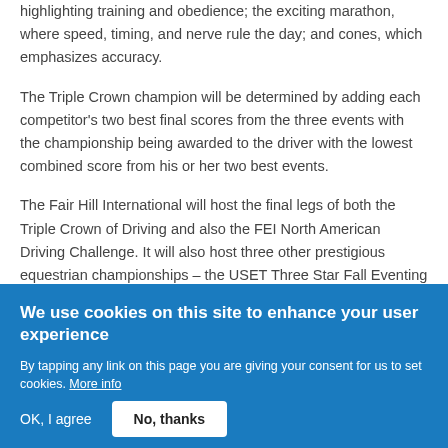highlighting training and obedience; the exciting marathon, where speed, timing, and nerve rule the day; and cones, which emphasizes accuracy.
The Triple Crown champion will be determined by adding each competitor's two best final scores from the three events with the championship being awarded to the driver with the lowest combined score from his or her two best events.
The Fair Hill International will host the final legs of both the Triple Crown of Driving and also the FEI North American Driving Challenge. It will also host three other prestigious equestrian championships – the USET Three Star Fall Eventing Championship, the USA Equestrian Single Horse...
We use cookies on this site to enhance your user experience
By tapping any link on this page you are giving your consent for us to set cookies. More info
OK, I agree
No, thanks